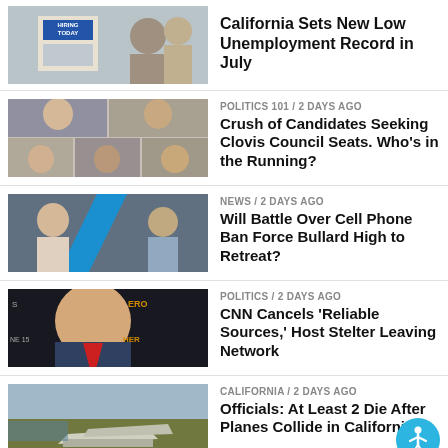[Figure (photo): Photo of a hiring sign and people at a job fair]
California Sets New Low Unemployment Record in July
[Figure (photo): Collage of political candidates headshots]
POLITICS 101 / 2 days ago
Crush of Candidates Seeking Clovis Council Seats. Who's in the Running?
[Figure (photo): Photo of students and phone ban scene at school]
NEWS / 2 days ago
Will Battle Over Cell Phone Ban Force Bullard High to Retreat?
[Figure (photo): Photo of Brian Stelter at CNN event]
POLITICS / 2 days ago
CNN Cancels 'Reliable Sources,' Host Stelter Leaving Network
[Figure (photo): Aerial photo of plane crash scene in California]
CALIFORNIA / 2 days ago
Officials: At Least 2 Die After Planes Collide in California